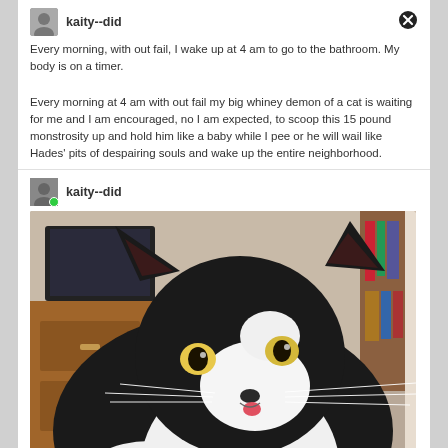kaity--did
Every morning, with out fail, I wake up at 4 am to go to the bathroom. My body is on a timer.

Every morning at 4 am with out fail my big whiney demon of a cat is waiting for me and I am encouraged, no I am expected, to scoop this 15 pound monstrosity up and hold him like a baby while I pee or he will wail like Hades' pits of despairing souls and wake up the entire neighborhood.
kaity--did
[Figure (photo): Close-up photo of a black and white tuxedo cat with yellow-green eyes, sticking out its tongue slightly, facing the camera. Room with wooden furniture visible in background.]
The hellion on trial